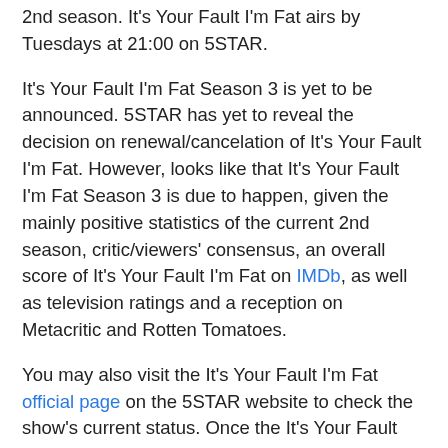2nd season. It's Your Fault I'm Fat airs by Tuesdays at 21:00 on 5STAR.
It's Your Fault I'm Fat Season 3 is yet to be announced. 5STAR has yet to reveal the decision on renewal/cancelation of It's Your Fault I'm Fat. However, looks like that It's Your Fault I'm Fat Season 3 is due to happen, given the mainly positive statistics of the current 2nd season, critic/viewers' consensus, an overall score of It's Your Fault I'm Fat on IMDb, as well as television ratings and a reception on Metacritic and Rotten Tomatoes.
You may also visit the It's Your Fault I'm Fat official page on the 5STAR website to check the show's current status. Once the It's Your Fault I'm Fat actual status is updated and/or its release date is revealed, we will update this page. Stay tuned for updates. We will keep you informed!